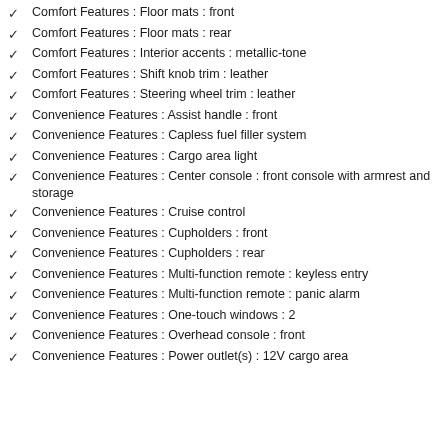Comfort Features : Floor mats : front
Comfort Features : Floor mats : rear
Comfort Features : Interior accents : metallic-tone
Comfort Features : Shift knob trim : leather
Comfort Features : Steering wheel trim : leather
Convenience Features : Assist handle : front
Convenience Features : Capless fuel filler system
Convenience Features : Cargo area light
Convenience Features : Center console : front console with armrest and storage
Convenience Features : Cruise control
Convenience Features : Cupholders : front
Convenience Features : Cupholders : rear
Convenience Features : Multi-function remote : keyless entry
Convenience Features : Multi-function remote : panic alarm
Convenience Features : One-touch windows : 2
Convenience Features : Overhead console : front
Convenience Features : Power outlet(s) : 12V cargo area